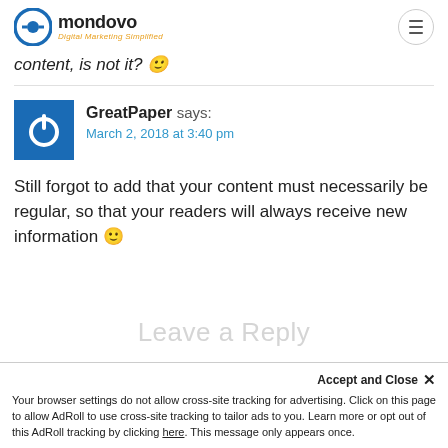mondovo Digital Marketing Simplified
content, is not it? 🙂
GreatPaper says:
March 2, 2018 at 3:40 pm
Still forgot to add that your content must necessarily be regular, so that your readers will always receive new information 🙂
Leave a Reply
Accept and Close ✕
Your browser settings do not allow cross-site tracking for advertising. Click on this page to allow AdRoll to use cross-site tracking to tailor ads to you. Learn more or opt out of this AdRoll tracking by clicking here. This message only appears once.